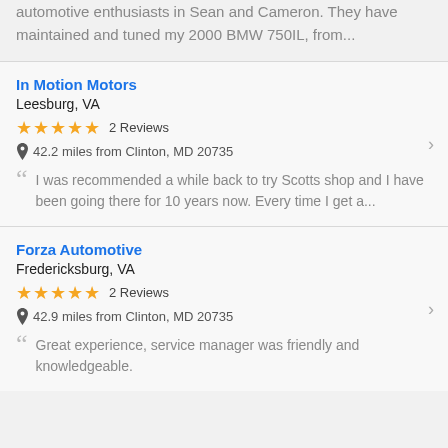automotive enthusiasts in Sean and Cameron. They have maintained and tuned my 2000 BMW 750IL, from...
In Motion Motors
Leesburg, VA
★★★★★ 2 Reviews
42.2 miles from Clinton, MD 20735
I was recommended a while back to try Scotts shop and I have been going there for 10 years now. Every time I get a...
Forza Automotive
Fredericksburg, VA
★★★★★ 2 Reviews
42.9 miles from Clinton, MD 20735
Great experience, service manager was friendly and knowledgeable.